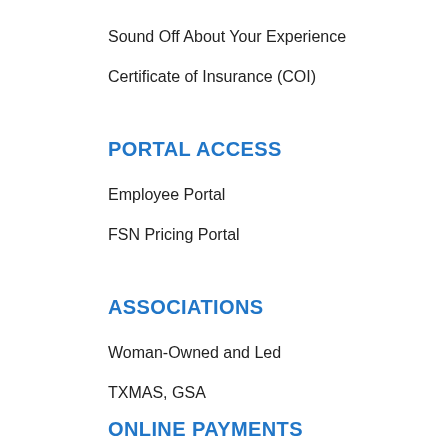Sound Off About Your Experience
Certificate of Insurance (COI)
PORTAL ACCESS
Employee Portal
FSN Pricing Portal
ASSOCIATIONS
Woman-Owned and Led
TXMAS, GSA
ONLINE PAYMENTS
Credit Cards or ACH